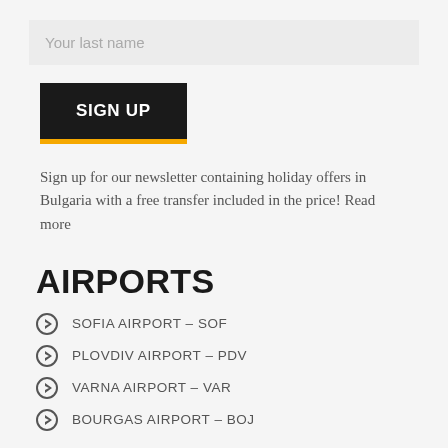Your last name
SIGN UP
Sign up for our newsletter containing holiday offers in Bulgaria with a free transfer included in the price! Read more
AIRPORTS
SOFIA AIRPORT – SOF
PLOVDIV AIRPORT – PDV
VARNA AIRPORT – VAR
BOURGAS AIRPORT – BOJ